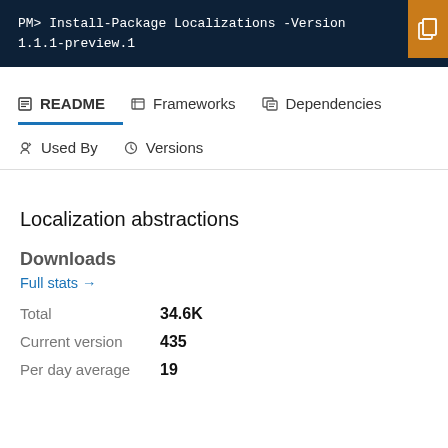PM> Install-Package Localizations -Version 1.1.1-preview.1
README
Frameworks
Dependencies
Used By
Versions
Localization abstractions
Downloads
Full stats →
Total  34.6K
Current version  435
Per day average  19